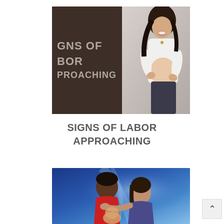[Figure (photo): Composite image showing dark brown panel with text 'SIGNS OF LABOR APPROACHING' on left side, and a laughing pregnant woman holding her belly on the right side against a light grey background]
SIGNS OF LABOR APPROACHING
[Figure (photo): Photo of a woman in labor with a support person leaning close, blue background with light effects suggesting a medical/birthing setting]